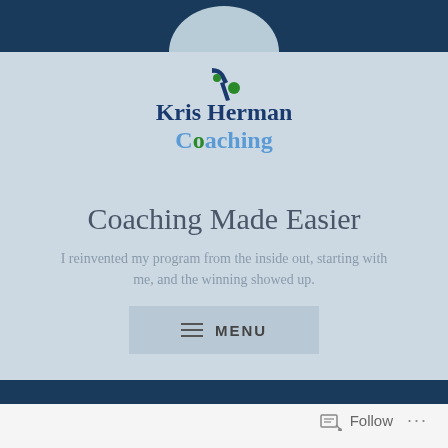[Figure (logo): Kris Herman Coaching logo with stylized hockey stick icon and green/blue dot, text in navy and blue]
Coaching Made Easier
I reinvented my program from the inside out, starting with me, and the winning showed up.
[Figure (screenshot): Menu button with hamburger icon and MENU label]
Follow ...